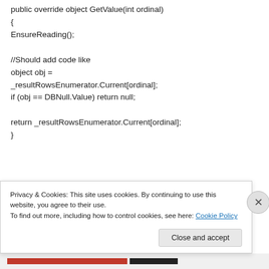public override object GetValue(int ordinal)
{
EnsureReading();

//Should add code like
object obj =
_resultRowsEnumerator.Current[ordinal];
if (obj == DBNull.Value) return null;

return _resultRowsEnumerator.Current[ordinal];
}
Privacy & Cookies: This site uses cookies. By continuing to use this website, you agree to their use.
To find out more, including how to control cookies, see here: Cookie Policy